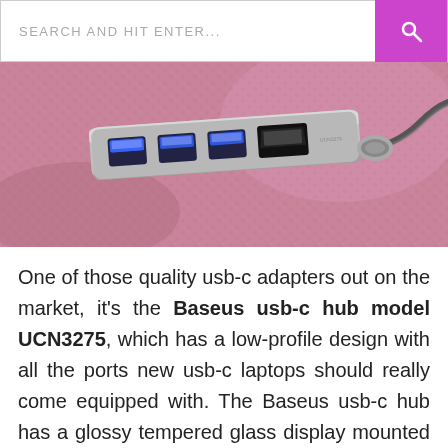SEARCH AND HIT ENTER...
[Figure (photo): Close-up photo of a Baseus USB-C hub with multiple USB-A ports and an HDMI port, resting on a pink/mauve knit fabric background. A cable is attached on the right side.]
One of those quality usb-c adapters out on the market, it's the Baseus usb-c hub model UCN3275, which has a low-profile design with all the ports new usb-c laptops should really come equipped with. The Baseus usb-c hub has a glossy tempered glass display mounted on an aluminium alloy frame. The glass